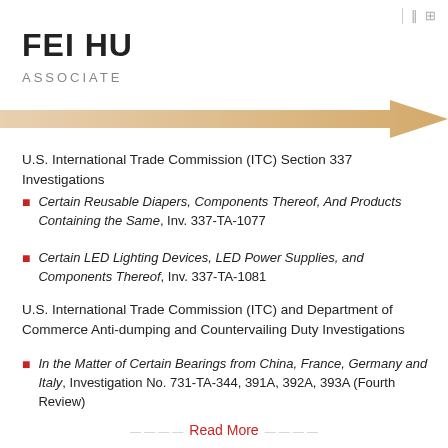FEI HU
ASSOCIATE
U.S. International Trade Commission (ITC) Section 337 Investigations
Certain Reusable Diapers, Components Thereof, And Products Containing the Same, Inv. 337-TA-1077
Certain LED Lighting Devices, LED Power Supplies, and Components Thereof, Inv. 337-TA-1081
U.S. International Trade Commission (ITC) and Department of Commerce Anti-dumping and Countervailing Duty Investigations
In the Matter of Certain Bearings from China, France, Germany and Italy, Investigation No. 731-TA-344, 391A, 392A, 393A (Fourth Review)
Read More